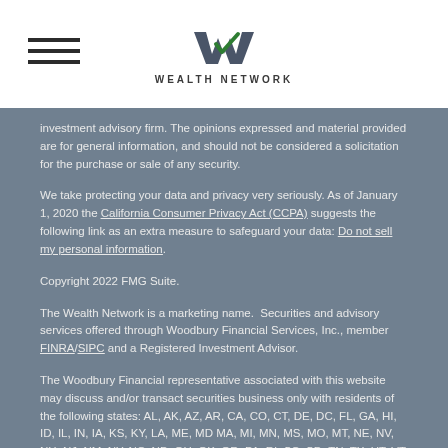Wealth Network
investment advisory firm. The opinions expressed and material provided are for general information, and should not be considered a solicitation for the purchase or sale of any security.
We take protecting your data and privacy very seriously. As of January 1, 2020 the California Consumer Privacy Act (CCPA) suggests the following link as an extra measure to safeguard your data: Do not sell my personal information.
Copyright 2022 FMG Suite.
The Wealth Network is a marketing name.  Securities and advisory services offered through Woodbury Financial Services, Inc., member FINRA/SIPC and a Registered Investment Advisor.
The Woodbury Financial representative associated with this website may discuss and/or transact securities business only with residents of the following states: AL, AK, AZ, AR, CA, CO, CT, DE, DC, FL, GA, HI, ID, IL, IN, IA, KS, KY, LA, ME, MD MA, MI, MN, MS, MO, MT, NE, NV, NH, NJ, NM, NY, NC, ND, OH, OK, OR, PA, RI, SC, SD, TN, TX, UT, VT, VA, WA, WV, WI, WY
*The Sleep Well Strategy is designed to helps instill confidence in your